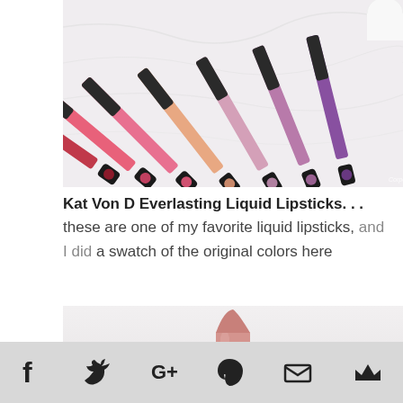[Figure (photo): Kat Von D Everlasting Liquid Lipsticks arranged in a fan pattern on a marble surface, showing tubes in various pink, red, peach, and purple shades with black ornate caps]
Kat Von D Everlasting Liquid Lipsticks. . . these are one of my favorite liquid lipsticks, and I did a swatch of the original colors here
[Figure (photo): A pink/nude lipstick bullet shown upright on a light grey/white background]
Social share icons: Facebook, Twitter, Google+, Pinterest, Email, Crown/Bloglovin